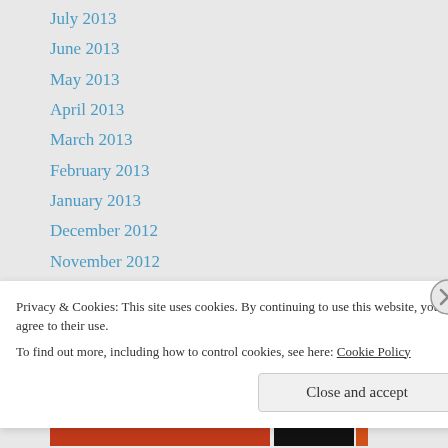July 2013
June 2013
May 2013
April 2013
March 2013
February 2013
January 2013
December 2012
November 2012
October 2012
September 2012
August 2012
July 2012
June 2012
Privacy & Cookies: This site uses cookies. By continuing to use this website, you agree to their use.
To find out more, including how to control cookies, see here: Cookie Policy
Close and accept